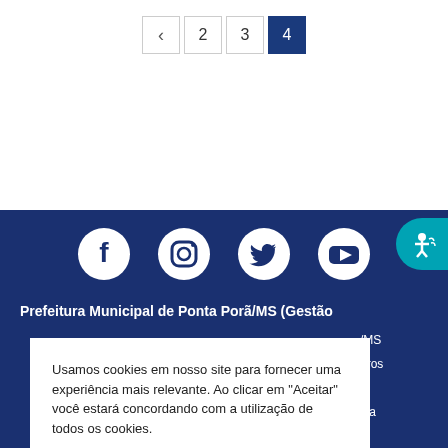< 2 3 4
[Figure (screenshot): Social media icons: Facebook, Instagram, Twitter, YouTube on dark blue background]
Prefeitura Municipal de Ponta Porã/MS (Gestão
Usamos cookies em nosso site para fornecer uma experiência mais relevante. Ao clicar em "Aceitar" você estará concordando com a utilização de todos os cookies.
Aceitar